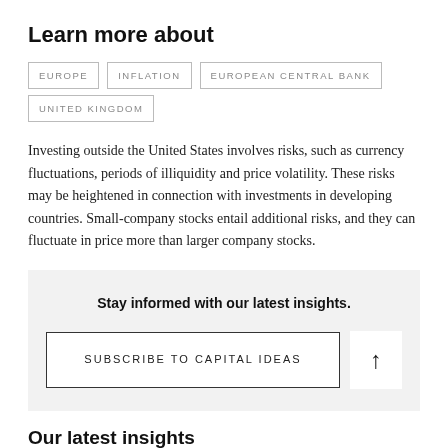Learn more about
EUROPE  INFLATION  EUROPEAN CENTRAL BANK  UNITED KINGDOM
Investing outside the United States involves risks, such as currency fluctuations, periods of illiquidity and price volatility. These risks may be heightened in connection with investments in developing countries. Small-company stocks entail additional risks, and they can fluctuate in price more than larger company stocks.
Stay informed with our latest insights.
SUBSCRIBE TO CAPITAL IDEAS
Our latest insights